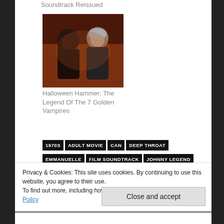Soundtrack Reissued
[Figure (photo): Movie still showing two characters — a woman with long dark hair and a man with grey hair smiling, against a dark reddish-brown background]
Halloween Hammer: The Legend Of The 7 Golden Vampires
1970S
ADULT MOVIE
CAN
DEEP THROAT
EMMANUELLE
FILM SOUNDTRACK
JOHNNY LEGEND
Privacy & Cookies: This site uses cookies. By continuing to use this website, you agree to their use.
To find out more, including how to control cookies, see here: Cookie Policy
Close and accept